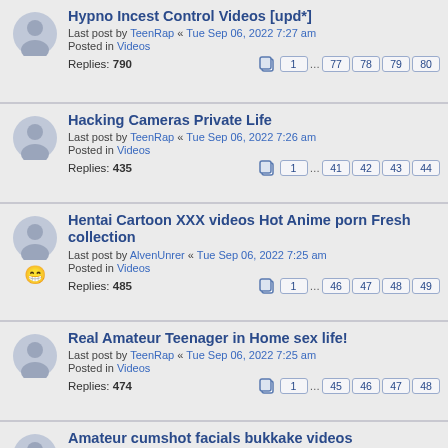Hypno Incest Control Videos [upd*] - Last post by TeenRap « Tue Sep 06, 2022 7:27 am - Posted in Videos - Replies: 790 - Pages: 1 ... 77 78 79 80
Hacking Cameras Private Life - Last post by TeenRap « Tue Sep 06, 2022 7:26 am - Posted in Videos - Replies: 435 - Pages: 1 ... 41 42 43 44
Hentai Cartoon XXX videos Hot Anime porn Fresh collection - Last post by AlvenUnrer « Tue Sep 06, 2022 7:25 am - Posted in Videos - Replies: 485 - Pages: 1 ... 46 47 48 49
Real Amateur Teenager in Home sex life! - Last post by TeenRap « Tue Sep 06, 2022 7:25 am - Posted in Videos - Replies: 474 - Pages: 1 ... 45 46 47 48
Amateur cumshot facials bukkake videos - Last post by TeenRap « Tue Sep 06, 2022 7:22 am - Posted in Videos - Replies: 279 - Pages: 1 ... 25 26 27 28